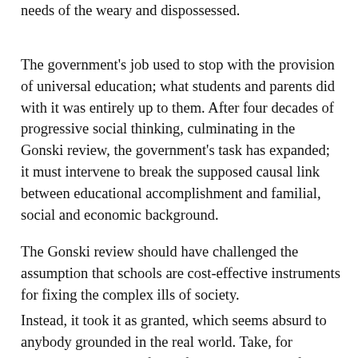needs of the weary and dispossessed.
The government's job used to stop with the provision of universal education; what students and parents did with it was entirely up to them. After four decades of progressive social thinking, culminating in the Gonski review, the government's task has expanded; it must intervene to break the supposed causal link between educational accomplishment and familial, social and economic background.
The Gonski review should have challenged the assumption that schools are cost-effective instruments for fixing the complex ills of society.
Instead, it took it as granted, which seems absurd to anybody grounded in the real world. Take, for example, the plight of an infant raised in a welfare-fed cesspit by adults so drug-addled that they are incapable of telling the time themselves, let alone passing that skill on to their children. Suppose a generous Labor government doubles the budget of the local school which the little mite fitfully attends. How